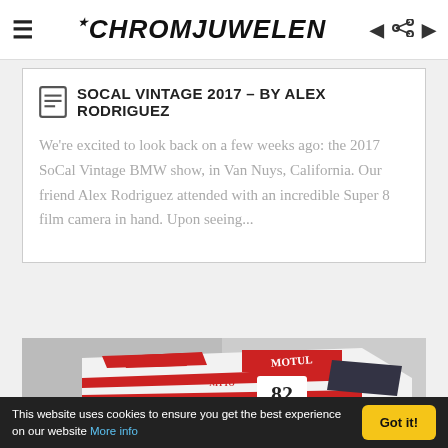CHROMJUWELEN
SOCAL VINTAGE 2017 – BY ALEX RODRIGUEZ
We're excited to look back on a few weeks ago: the 2017 SoCal Vintage BMW show, in Van Nuys, California. Our friend Alex Rodriguez attended with an incredible Super 8 film camera in hand. Upon seeing...
[Figure (photo): Aerial/top-down view of a red and white racing BMW car numbered 82 with Motul and Nitto sponsorship livery on a track surface]
This website uses cookies to ensure you get the best experience on our website More info